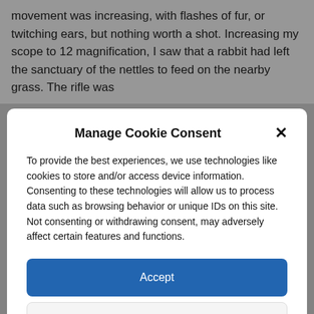movement was increasing, with flashes of fur, or twitching ears, but nothing worth a shot. Increasing my scope to 12 magnification, I saw that a rabbit had left the sanctuary of the nettles to feed on the nearby grass. The rifle was
Manage Cookie Consent
To provide the best experiences, we use technologies like cookies to store and/or access device information. Consenting to these technologies will allow us to process data such as browsing behavior or unique IDs on this site. Not consenting or withdrawing consent, may adversely affect certain features and functions.
Accept
Deny
View preferences
Cookie Policy